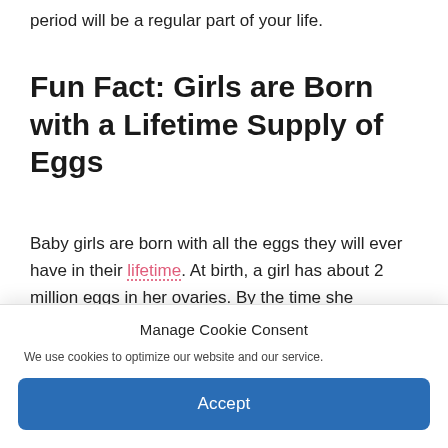period will be a regular part of your life.
Fun Fact: Girls are Born with a Lifetime Supply of Eggs
Baby girls are born with all the eggs they will ever have in their lifetime. At birth, a girl has about 2 million eggs in her ovaries. By the time she reaches puberty, this number will decrease to about 300,000 to 500,000 eggs. Interestingly, only about 400 or
Manage Cookie Consent
We use cookies to optimize our website and our service.
Accept